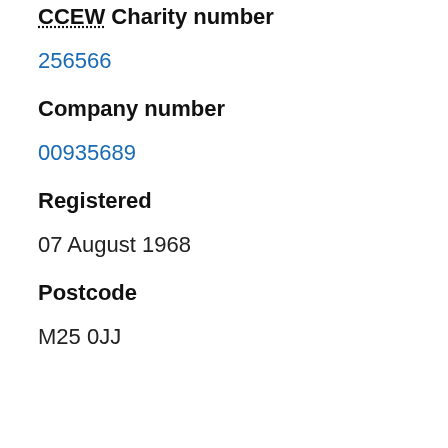CCEW Charity number
256566
Company number
00935689
Registered
07 August 1968
Postcode
M25 0JJ